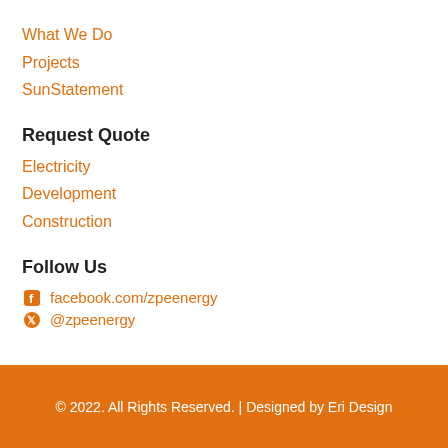What We Do
Projects
SunStatement
Request Quote
Electricity
Development
Construction
Follow Us
facebook.com/zpeenergy
@zpeenergy
© 2022. All Rights Reserved. | Designed by Eri Design